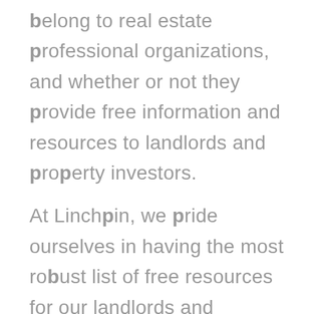belong to real estate professional organizations, and whether or not they provide free information and resources to landlords and property investors.

At Linchpin, we pride ourselves in having the most robust list of free resources for our landlords and property investors. Our property managers work tirelessly to make sure we give information for free.

What this means to you as a real estate investor is that if you so desired, you could manage your own property for free, without